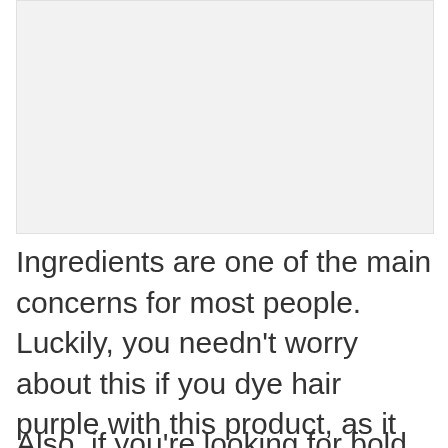[Figure (photo): A light gray rectangular image placeholder area at the top of the page]
Ingredients are one of the main concerns for most people. Luckily, you needn't worry about this if you dye hair purple with this product, as it contains vegan ingredients.
Also, if you're looking for bold and